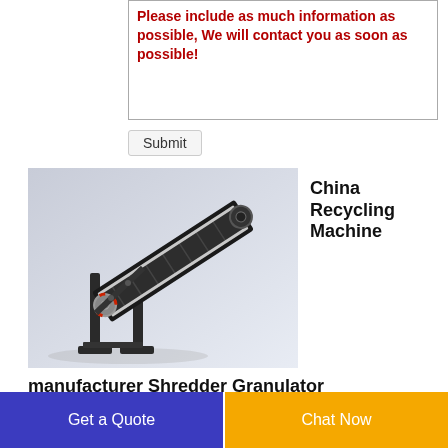Please include as much information as possible, We will contact you as soon as possible!
Submit
[Figure (photo): 3D rendering of an inclined conveyor belt machine with metal frame, angled diagonally, used in recycling or material handling.]
China Recycling Machine
manufacturer Shredder Granulator
Get a Quote
Chat Now